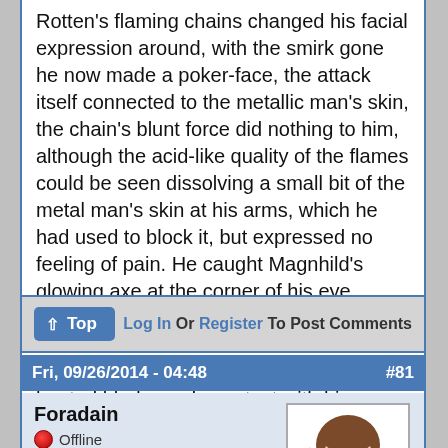Rotten's flaming chains changed his facial expression around, with the smirk gone he now made a poker-face, the attack itself connected to the metallic man's skin, the chain's blunt force did nothing to him, although the acid-like quality of the flames could be seen dissolving a small bit of the metal man's skin at his arms, which he had used to block it, but expressed no feeling of pain. He caught Magnhild's glowing axe at the corner of his eye, turning to face her. He raised his arm to deflect the blow to his shoulder and make it miss by a few inches instead, but the heated blade made contact with his arm while doing so, but not long enough to melt it.
Log In Or Register To Post Comments
Fri, 09/26/2014 - 04:48  #81
Foradain
Offline
Last seen: 8 hours 58 min ago